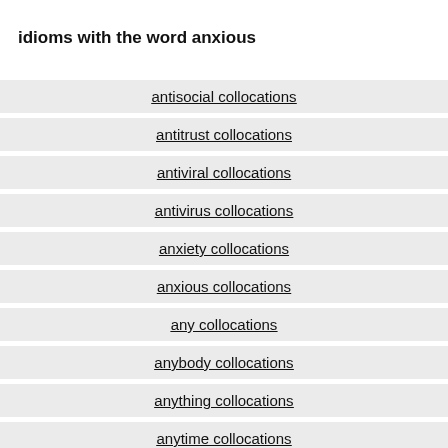idioms with the word anxious
antisocial collocations
antitrust collocations
antiviral collocations
antivirus collocations
anxiety collocations
anxious collocations
any collocations
anybody collocations
anything collocations
anytime collocations
anyway collocations